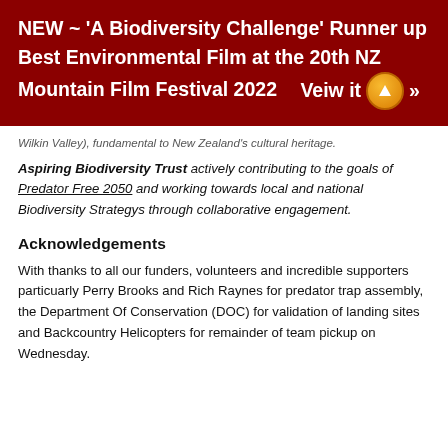NEW ~ 'A Biodiversity Challenge' Runner up Best Environmental Film at the 20th NZ Mountain Film Festival 2022   Veiw it »
Wilkin Valley), fundamental to New Zealand's cultural heritage.
Aspiring Biodiversity Trust actively contributing to the goals of Predator Free 2050 and working towards local and national Biodiversity Strategys through collaborative engagement.
Acknowledgements
With thanks to all our funders, volunteers and incredible supporters particuarly Perry Brooks and Rich Raynes for predator trap assembly, the Department Of Conservation (DOC) for validation of landing sites and Backcountry Helicopters for remainder of team pickup on Wednesday.